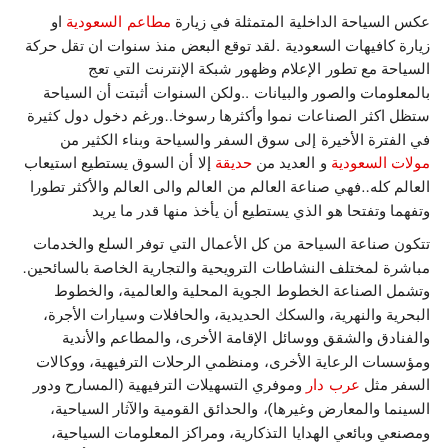عكس السياحة الداخلية المتمثلة في زيارة مطاعم السعودية او زيارة كافيهات السعودية .لقد توقع البعض منذ سنوات ان تقل حركة السياحة مع تطور الإعلام وظهور شبكة الإنترنت التي تعج بالمعلومات والصور والبيانات ..ولكن السنوات أثبتت أن السياحة ستظل اكثر الصناعات نموا وأكثرها رسوخا..ورغم دخول دول كثيرة في الفترة الأخيرة إلى سوق السفر والسياحة وبناء الكثير من مولات السعودية و العديد من حديقة إلا أن السوق يستطيع استيعاب العالم كله..فهي صناعة العالم من العالم والى العالم والأكثر تطورا وتفهما وتفتحا هو الذي يستطيع أن يأخذ منها قدر ما يريد
تتكون صناعة السياحة من كل الأعمال التي توفر السلع والخدمات مباشرة لمختلف النشاطات الترويحية والتجارية الخاصة بالسائحين. وتشمل الصناعة الخطوط الجوية المحلية والعالمية، والخطوط البحرية والنهرية، والسكك الحديدية، والحافلات وسيارات الأجرة، والفنادق والشقق ووسائل الإقامة الأخرى، والمطاعم والأندية ومؤسسات الرعاية الأخرى، ومنظمي الرحلات الترفيهية، ووكالات السفر مثل عرب دار وموفري التسهيلات الترفيهية (المسارح ودور السينما والمعارض وغيرها)، والحدائق القومية والآثار السياحية، ومصنعي وبائعي الهدايا التذكارية، ومراكز المعلومات السياحية، ومراكز المؤتمرات والاجتماعات. ويخدم العديد من هذه الأعمال غير السياح أيضًا.
Reply